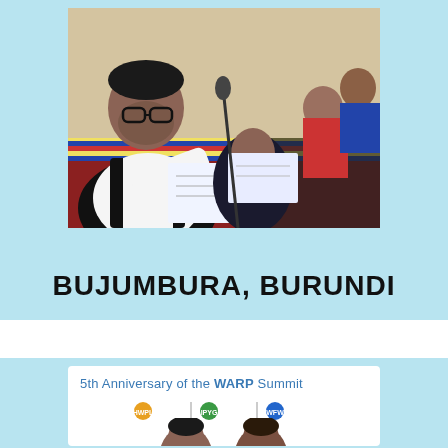[Figure (photo): A row of people, including a man in a black vest and glasses in the foreground, seated at a table covered with colorful traditional cloth, signing documents at what appears to be a formal ceremony.]
BUJUMBURA, BURUNDI
[Figure (infographic): A white banner card reading '5th Anniversary of the WARP Summit' with logos for HWPL, IPYG, and WFWP organizations, and partial faces of attendees visible at the bottom.]